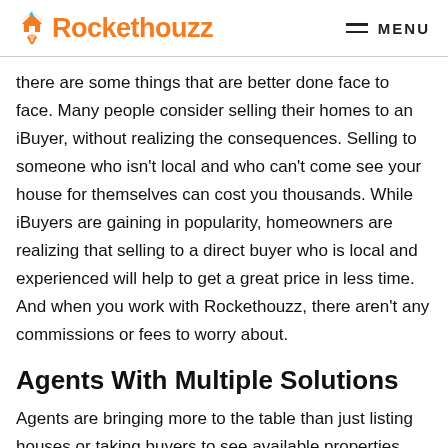Rockethouzz | MENU
there are some things that are better done face to face. Many people consider selling their homes to an iBuyer, without realizing the consequences. Selling to someone who isn't local and who can't come see your house for themselves can cost you thousands. While iBuyers are gaining in popularity, homeowners are realizing that selling to a direct buyer who is local and experienced will help to get a great price in less time. And when you work with Rockethouzz, there aren't any commissions or fees to worry about.
Agents With Multiple Solutions
Agents are bringing more to the table than just listing houses or taking buyers to see available properties.